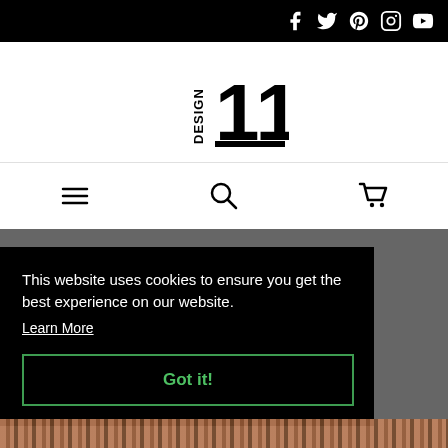Social media icons: Facebook, Twitter, Pinterest, Instagram, YouTube
[Figure (logo): Design 11 logo — stylized text 'DESIGN' vertically alongside bold '11' numeral]
[Figure (infographic): Navigation bar with hamburger menu, search icon, and shopping cart icon]
This website uses cookies to ensure you get the best experience on our website. Learn More
Got it!